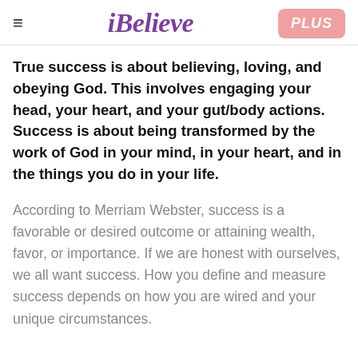iBelieve | PLUS
True success is about believing, loving, and obeying God. This involves engaging your head, your heart, and your gut/body actions. Success is about being transformed by the work of God in your mind, in your heart, and in the things you do in your life.
According to Merriam Webster, success is a favorable or desired outcome or attaining wealth, favor, or importance. If we are honest with ourselves, we all want success. How you define and measure success depends on how you are wired and your unique circumstances.